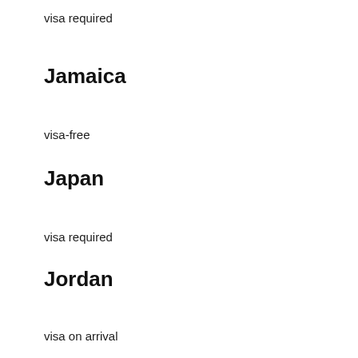visa required
Jamaica
visa-free
Japan
visa required
Jordan
visa on arrival
Kazakhstan